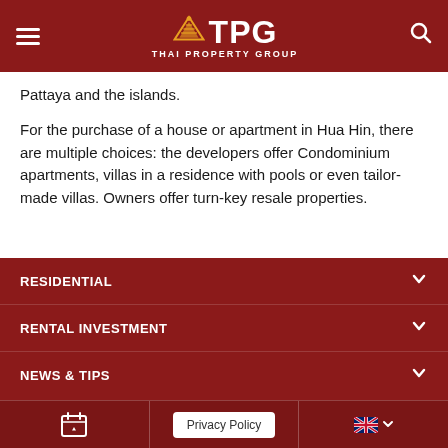TPG Thai Property Group
Pattaya and the islands.
For the purchase of a house or apartment in Hua Hin, there are multiple choices: the developers offer Condominium apartments, villas in a residence with pools or even tailor-made villas. Owners offer turn-key resale properties.
RESIDENTIAL
RENTAL INVESTMENT
NEWS & TIPS
Privacy Policy